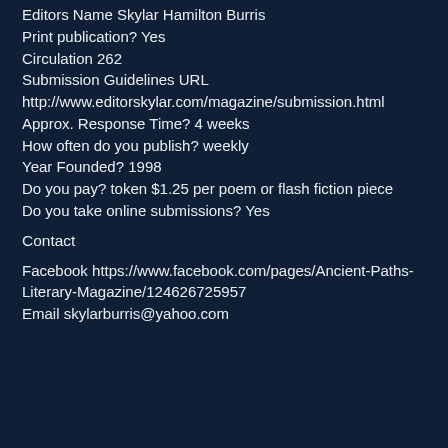Editors Name Skylar Hamilton Burris
Print publication? Yes
Circulation 262
Submission Guidelines URL
http://www.editorskylar.com/magazine/submission.html
Approx. Response Time? 4 weeks
How often do you publish? weekly
Year Founded? 1998
Do you pay? token $1.25 per poem or flash fiction piece
Do you take online submissions? Yes
Contact
Facebook https://www.facebook.com/pages/Ancient-Paths-Literary-Magazine/124626725957
Email skylarburris@yahoo.com